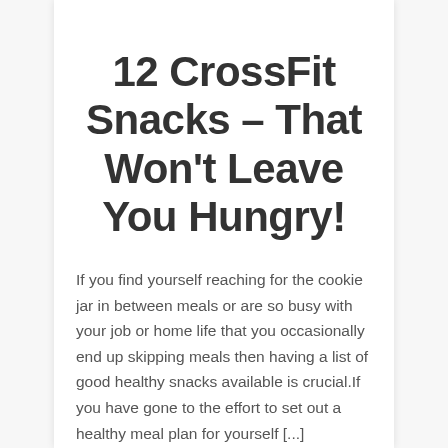12 CrossFit Snacks – That Won't Leave You Hungry!
If you find yourself reaching for the cookie jar in between meals or are so busy with your job or home life that you occasionally end up skipping meals then having a list of good healthy snacks available is crucial.If you have gone to the effort to set out a healthy meal plan for yourself [...]